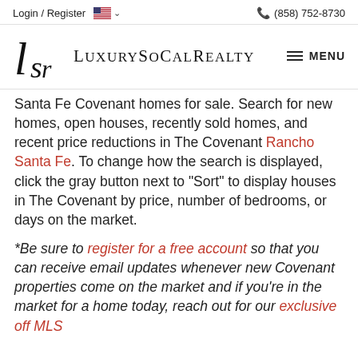Login / Register   (858) 752-8730
[Figure (logo): LuxurySoCalRealty logo with stylized LSR monogram and serif text]
Santa Fe Covenant homes for sale. Search for new homes, open houses, recently sold homes, and recent price reductions in The Covenant Rancho Santa Fe. To change how the search is displayed, click the gray button next to "Sort" to display houses in The Covenant by price, number of bedrooms, or days on the market.
*Be sure to register for a free account so that you can receive email updates whenever new Covenant properties come on the market and if you're in the market for a home today, reach out for our exclusive off MLS